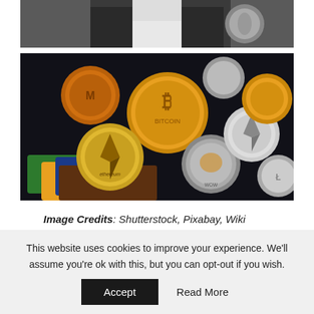[Figure (photo): Partial image of a person in dark jacket at top of page]
[Figure (photo): Multiple cryptocurrency coins including Bitcoin, Ethereum, Dogecoin, Monero, and other altcoins scattered on a dark surface with credit cards visible]
Image Credits: Shutterstock, Pixabay, Wiki Commons, Tony Norkus
This website uses cookies to improve your experience. We'll assume you're ok with this, but you can opt-out if you wish.